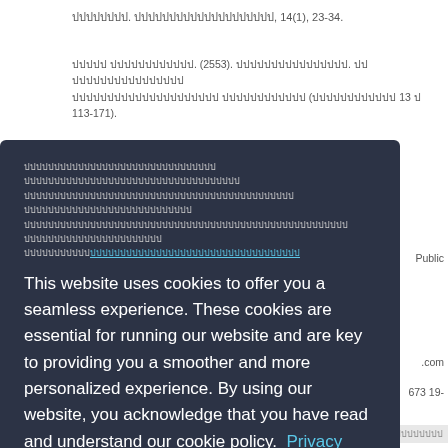ปปปปปปปป. ปปปปปปปปปปปปปปปปปปปป, 14(1), 23-34.
ปปปปป ปปปปปปปปปปปป. (2553). ปปปปปปปปปปปปปปปป. ปป ปปปปปปปปปปปปปปปป ปปปปปปปปปปปปปปปปปปปปป ปปปปปปปปปปปป (ปปปปปปปปปปปป 13 ป 113-171).
[Figure (screenshot): Cookie consent modal dialog overlay on a webpage with Thai text content. The modal has a dark navy background (#2c3345). It contains Thai text at the top, followed by the cookie notice in English: 'This website uses cookies to offer you a seamless experience. These cookies are essential for running our website and are key to providing you a smoother and more personalized experience. By using our website, you acknowledge that you have read and understand our cookie policy.' with a 'Privacy policy' link. Below is a teal 'Accept' button. Partially visible behind the modal is a reference list with Thai text and some English fragments including 'Public', '.com', '673', '19-'.]